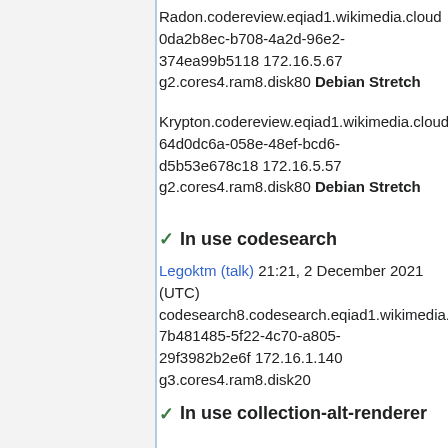Radon.codereview.eqiad1.wikimedia.cloud 0da2b8ec-b708-4a2d-96e2-374ea99b5118 172.16.5.67 g2.cores4.ram8.disk80 Debian Stretch
Krypton.codereview.eqiad1.wikimedia.cloud 64d0dc6a-058e-48ef-bcd6-d5b53e678c18 172.16.5.57 g2.cores4.ram8.disk80 Debian Stretch
✓ In use codesearch
Legoktm (talk) 21:21, 2 December 2021 (UTC) codesearch8.codesearch.eqiad1.wikimedia. 7b481485-5f22-4c70-a805-29f3982b2e6f 172.16.1.140 g3.cores4.ram8.disk20
✓ In use collection-alt-renderer